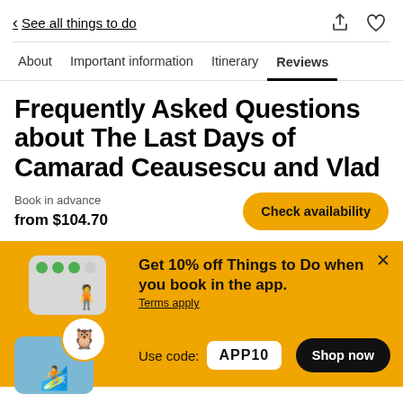< See all things to do
About  Important information  Itinerary  Reviews
Frequently Asked Questions about The Last Days of Camarad Ceausescu and Vlad
Book in advance
from $104.70
[Figure (screenshot): Check availability button (yellow rounded rectangle)]
[Figure (infographic): App promotional banner with travel photos, owl badge, Get 10% off Things to Do when you book in the app. Terms apply. Use code: APP10. Shop now button.]
Get 10% off Things to Do when you book in the app.
Terms apply
Use code:  APP10
Shop now